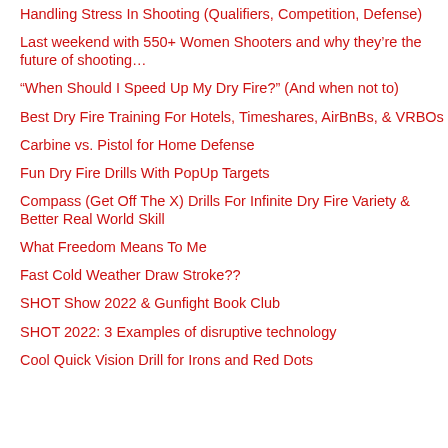Handling Stress In Shooting (Qualifiers, Competition, Defense)
Last weekend with 550+ Women Shooters and why they're the future of shooting…
“When Should I Speed Up My Dry Fire?” (And when not to)
Best Dry Fire Training For Hotels, Timeshares, AirBnBs, & VRBOs
Carbine vs. Pistol for Home Defense
Fun Dry Fire Drills With PopUp Targets
Compass (Get Off The X) Drills For Infinite Dry Fire Variety & Better Real World Skill
What Freedom Means To Me
Fast Cold Weather Draw Stroke??
SHOT Show 2022 & Gunfight Book Club
SHOT 2022: 3 Examples of disruptive technology
Cool Quick Vision Drill for Irons and Red Dots